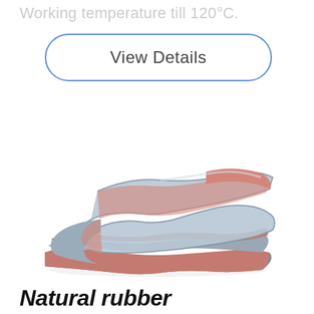Working temperature till 120°C.
View Details
[Figure (photo): Stacked layers of flexible rubber sheets in pink/salmon and grey colors, folded and layered to show cross-section and material flexibility]
Natural rubber